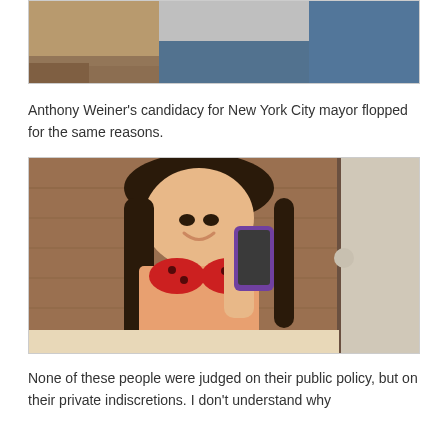[Figure (photo): Partial photo visible at top of page, cropped, showing lower portion of a person and water/ocean in background]
Anthony Weiner's candidacy for New York City mayor flopped for the same reasons.
[Figure (photo): Young woman in red polka-dot bikini taking a mirror selfie with a purple-cased phone, in front of a wooden door]
None of these people were judged on their public policy, but on their private indiscretions. I don't understand why